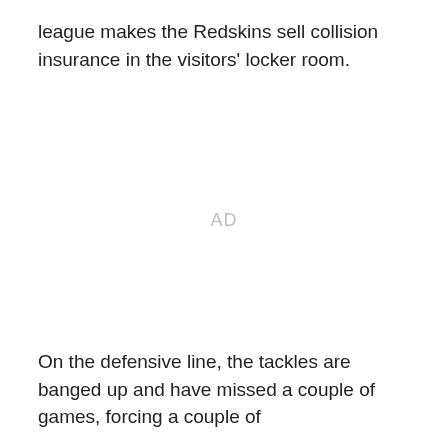league makes the Redskins sell collision insurance in the visitors' locker room.
AD
On the defensive line, the tackles are banged up and have missed a couple of games, forcing a couple of